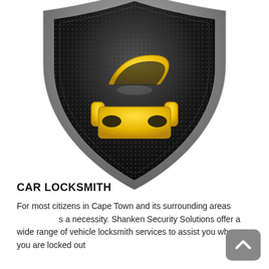[Figure (logo): A metallic shield badge with dark mesh/dot background and a yellow car icon (front view) in the center. The shield has a silver chrome border and tapers to a point at the bottom.]
CAR LOCKSMITH
For most citizens in Cape Town and its surrounding areas [a necessity. Shanken Security Solutions offer a wide range of vehicle locksmith services to assist you when you are locked out